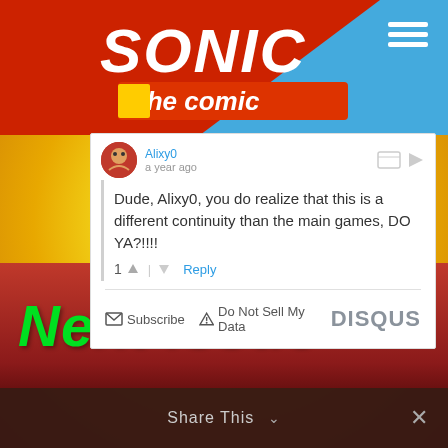[Figure (screenshot): Sonic the Comic website header with red and blue banner, Sonic logo and 'the comic' text, hamburger menu icon]
Alixy0
a year ago
Dude, Alixy0, you do realize that this is a different continuity than the main games, DO YA?!!!!
1 ∧ | ∨ Reply
Subscribe   Do Not Sell My Data   DISQUS
Next Issue
Share This ∨